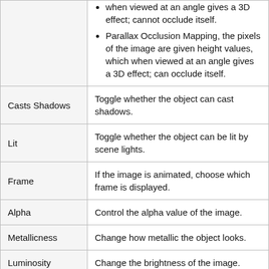| Property | Description |
| --- | --- |
|  | when viewed at an angle gives a 3D effect; cannot occlude itself.
Parallax Occlusion Mapping, the pixels of the image are given height values, which when viewed at an angle gives a 3D effect; can occlude itself. |
| Casts Shadows | Toggle whether the object can cast shadows. |
| Lit | Toggle whether the object can be lit by scene lights. |
| Frame | If the image is animated, choose which frame is displayed. |
| Alpha | Control the alpha value of the image. |
| Metallicness | Change how metallic the object looks. |
| Luminosity | Change the brightness of the image. |
| Specularity | How much specular light is reflected from the object. |
| Roughness | How rough the surface of the material is |